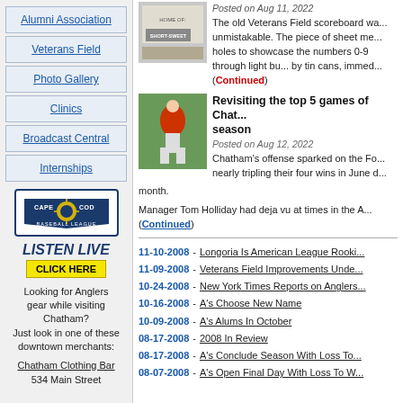Alumni Association
Veterans Field
Photo Gallery
Clinics
Broadcast Central
Internships
[Figure (logo): Cape Cod Baseball League logo]
LISTEN LIVE CLICK HERE
Looking for Anglers gear while visiting Chatham? Just look in one of these downtown merchants:
Chatham Clothing Bar 534 Main Street
Posted on Aug 11, 2022 The old Veterans Field scoreboard was unmistakable. The piece of sheet metal had holes to showcase the numbers 0-9 through light bulbs covered by tin cans, immed... (Continued)
Revisiting the top 5 games of Chatham's season
Posted on Aug 12, 2022
Chatham's offense sparked on the Fourth, nearly tripling their four wins in June during the month.
Manager Tom Holliday had deja vu at times in the August... (Continued)
11-10-2008 - Longoria Is American League Rookie...
11-09-2008 - Veterans Field Improvements Unde...
10-24-2008 - New York Times Reports on Anglers...
10-16-2008 - A's Choose New Name
10-09-2008 - A's Alums In October
08-17-2008 - 2008 In Review
08-17-2008 - A's Conclude Season With Loss To...
08-07-2008 - A's Open Final Day With Loss To W...